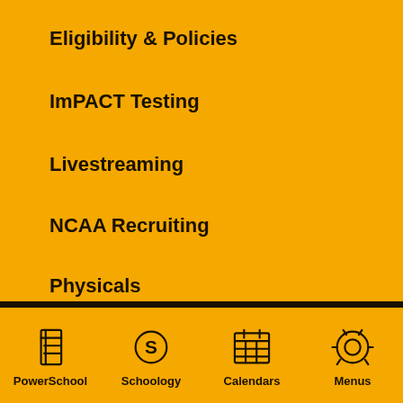Eligibility & Policies
ImPACT Testing
Livestreaming
NCAA Recruiting
Physicals
QV Sports Hall of Fame [external link]
Sports Camps [external link]
Sports Opportunities
PowerSchool  Schoology  Calendars  Menus